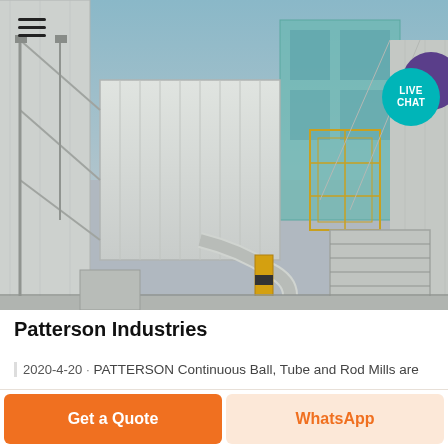[Figure (photo): Aerial/overhead view of an industrial facility showing large white rectangular structures, steel scaffolding, yellow cage/guard structures, pipes, ducts, and industrial equipment typical of a ball mill or processing plant.]
Patterson Industries
2020-4-20 · PATTERSON Continuous Ball, Tube and Rod Mills are
Get a Quote
WhatsApp